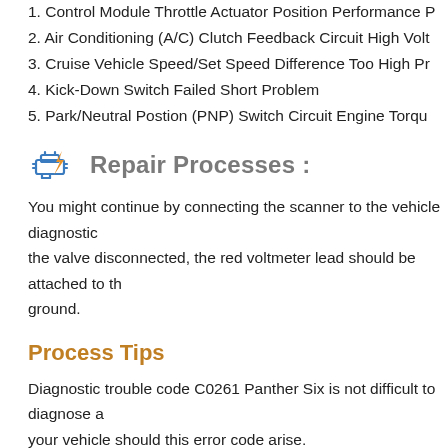1. Control Module Throttle Actuator Position Performance P
2. Air Conditioning (A/C) Clutch Feedback Circuit High Volt
3. Cruise Vehicle Speed/Set Speed Difference Too High Pr
4. Kick-Down Switch Failed Short Problem
5. Park/Neutral Postion (PNP) Switch Circuit Engine Torqu
Repair Processes :
You might continue by connecting the scanner to the vehicle diagnostic the valve disconnected, the red voltmeter lead should be attached to th ground.
Process Tips
Diagnostic trouble code C0261 Panther Six is not difficult to diagnose a your vehicle should this error code arise.